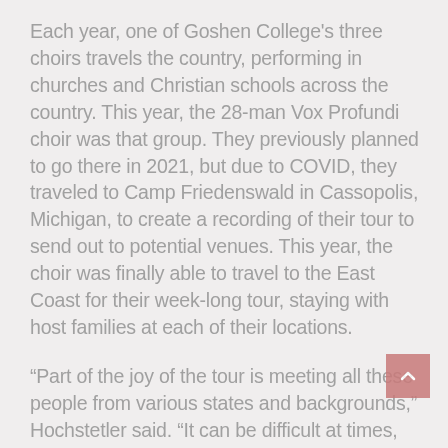Each year, one of Goshen College's three choirs travels the country, performing in churches and Christian schools across the country. This year, the 28-man Vox Profundi choir was that group. They previously planned to go there in 2021, but due to COVID, they traveled to Camp Friedenswald in Cassopolis, Michigan, to create a recording of their tour to send out to potential venues. This year, the choir was finally able to travel to the East Coast for their week-long tour, staying with host families at each of their locations.
“Part of the joy of the tour is meeting all these people from various states and backgrounds,” Hochstetler said. “It can be difficult at times, but it’s very rewarding and you don’t get it if you stay in different hotels. We have character officers who tell jokes and give out vitamins and they are in charge of